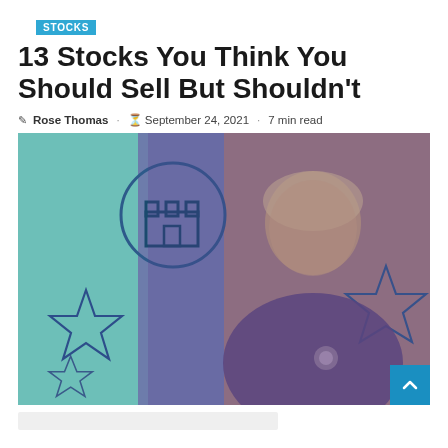STOCKS
13 Stocks You Think You Should Sell But Shouldn't
Rose Thomas · September 24, 2021 · 7 min read
[Figure (photo): Illustration showing a smiling woman in a blazer with a brooch, set against a split teal and yellow-green background with star and castle icon graphics, purple color overlay]